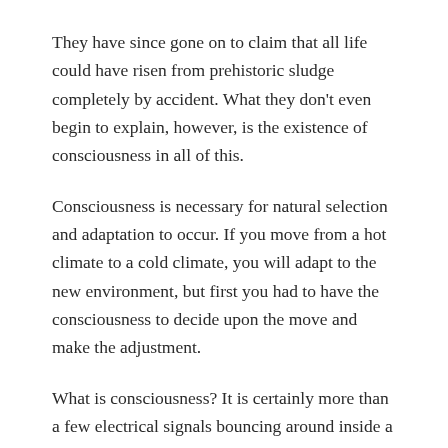They have since gone on to claim that all life could have risen from prehistoric sludge completely by accident. What they don't even begin to explain, however, is the existence of consciousness in all of this.
Consciousness is necessary for natural selection and adaptation to occur. If you move from a hot climate to a cold climate, you will adapt to the new environment, but first you had to have the consciousness to decide upon the move and make the adjustment.
What is consciousness? It is certainly more than a few electrical signals bouncing around inside a brain. Computers can mimic some limited aspects of the brain such as human logic, but they are not self-aware. There isn't a computer in the world that can think for itself. Computers just follow sets of preset rules, and they do so as quickly as possible.